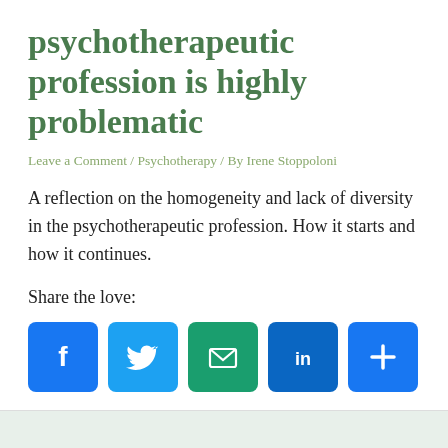psychotherapeutic profession is highly problematic
Leave a Comment / Psychotherapy / By Irene Stoppoloni
A reflection on the homogeneity and lack of diversity in the psychotherapeutic profession. How it starts and how it continues.
Share the love:
[Figure (infographic): Row of five social sharing buttons: Facebook (blue), Twitter (light blue), Email (green), LinkedIn (dark blue), More/Plus (blue)]
[Figure (other): reCAPTCHA privacy badge with spinning arrow icon and 'Privacy · Terms' text]